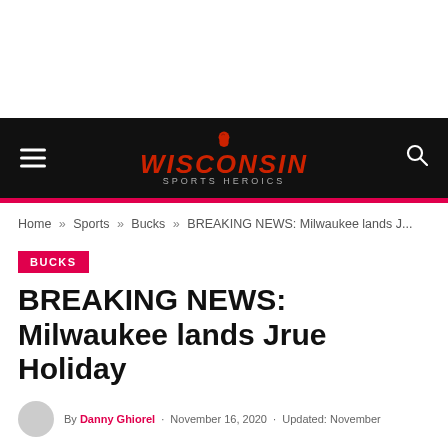[Figure (logo): Wisconsin Sports Heroics logo with red fist icon, red italic bold text WISCONSIN, and subtitle SPORTS HEROICS in gray]
Home » Sports » Bucks » BREAKING NEWS: Milwaukee lands J...
BUCKS
BREAKING NEWS: Milwaukee lands Jrue Holiday
By Danny Ghiorel · November 16, 2020 · Updated: November